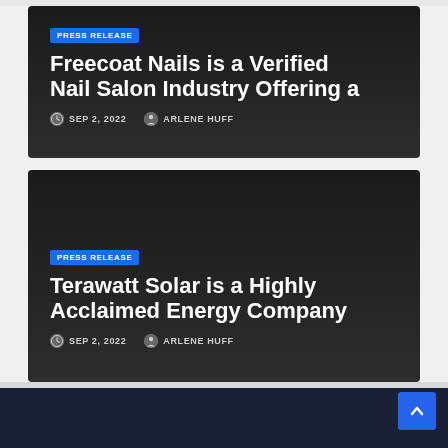PRESS RELEASE
Freecoat Nails is a Verified Nail Salon Industry Offering a
SEP 2, 2022   ARLENE HUFF
PRESS RELEASE
Terawatt Solar is a Highly Acclaimed Energy Company
SEP 2, 2022   ARLENE HUFF